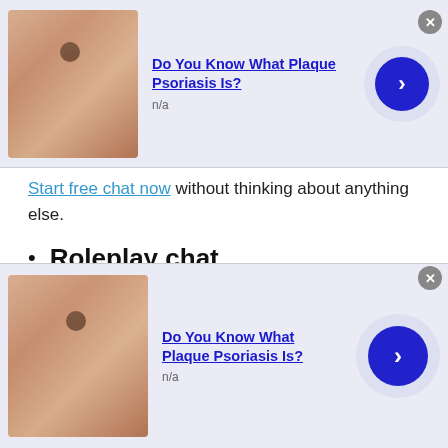[Figure (screenshot): Top advertisement banner: image of hand with skin condition, title 'Do You Know What Plaque Psoriasis Is?', subtitle 'n/a', blue arrow button on right]
Start free chat now without thinking about anything else.
Roleplay chat
Do you feel bored and don't have any excitement due to this pandemic life? If you want to do something different and get rid of boredom or loneliness then TWS role-play chat is a fantastic option to try. Talk to strangers in Chad and give your creativity a boost. TWS role-play chat rooms give
[Figure (screenshot): Bottom advertisement banner: image of hand with skin condition, title 'Do You Know What Plaque Psoriasis Is?', subtitle 'n/a', blue arrow button on right]